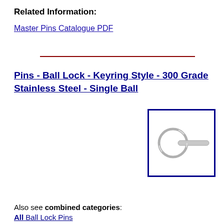Related Information:
Master Pins Catalogue PDF
[Figure (illustration): Ball lock keyring style pin with circular ring handle and cylindrical pin shaft]
Pins - Ball Lock - Keyring Style - 300 Grade Stainless Steel - Single Ball
Sizes & Prices
Also see combined categories:
All Ball Lock Pins
All Keyring Style Ball Lock Pins